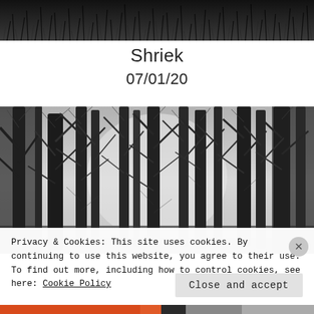[Figure (photo): Black and white photo of dense grass or foliage, cropped at top of page]
Shriek
07/01/20
[Figure (photo): Black and white photo of bare winter trees in a misty forest]
Privacy & Cookies: This site uses cookies. By continuing to use this website, you agree to their use.
To find out more, including how to control cookies, see here: Cookie Policy
Close and accept